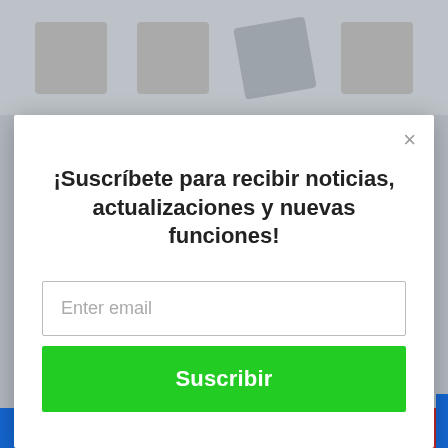[Figure (screenshot): Background webpage with product icons at top and colored bars at bottom]
¡Suscríbete para recibir noticias, actualizaciones y nuevas funciones!
Enter email
Suscribir